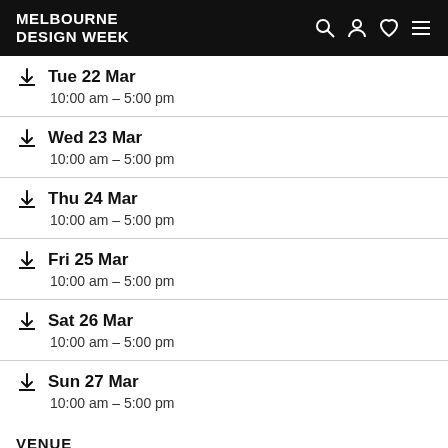MELBOURNE DESIGN WEEK
Tue 22 Mar — 10:00 am – 5:00 pm
Wed 23 Mar — 10:00 am – 5:00 pm
Thu 24 Mar — 10:00 am – 5:00 pm
Fri 25 Mar — 10:00 am – 5:00 pm
Sat 26 Mar — 10:00 am – 5:00 pm
Sun 27 Mar — 10:00 am – 5:00 pm
VENUE